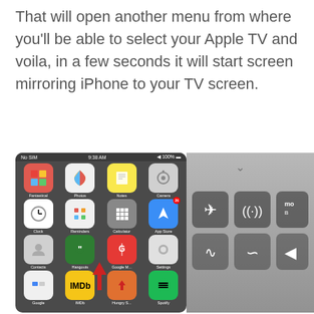That will open another menu from where you'll be able to select your Apple TV and voila, in a few seconds it will start screen mirroring iPhone to your TV screen.
[Figure (screenshot): iPhone home screen showing apps: Fantastical, Photos, Notes, Camera, Clock, Reminders, Calculator, App Store (with badge 26), Contacts, Hangouts, Google Maps, Settings, Google, IMDb, Hungry S..., Spotify. A red upward arrow overlaid on the bottom area. Status bar shows No SIM, 9:38 AM, 100%.]
[Figure (screenshot): iOS Control Center partially visible, showing a chevron at top, and a 2x2 grid of control buttons: airplane mode, wifi/cellular, and Bluetooth icons visible. A partial 'mo' label visible on the right side.]